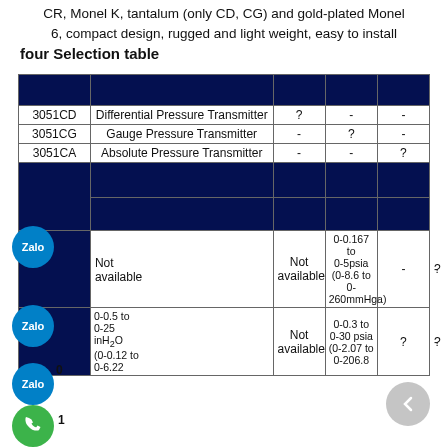CR, Monel K, tantalum (only CD, CG) and gold-plated Monel 6, compact design, rugged and light weight, easy to install
four Selection table
| Model | Description | CD | CG | CA |
| --- | --- | --- | --- | --- |
| 3051CD | Differential Pressure Transmitter | ? | - | - |
| 3051CG | Gauge Pressure Transmitter | - | ? | - |
| 3051CA | Absolute Pressure Transmitter | - | - | ? |
|  |  |  |  |  |
|  | Not available | Not available | 0-0.167 to 0-5psia (0-8.6 to 0-260mmHga) | - | - | ? |
| 1 | 0-0.5 to 0-25 inH2O (0-0.12 to 0-6.22... | Not available | 0-0.3 to 0-30 psia (0-2.07 to 0-206.8... | ? | - | ? |